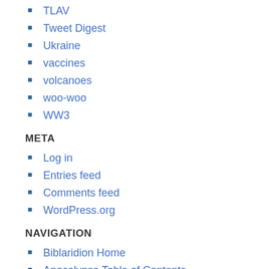TLAV
Tweet Digest
Ukraine
vaccines
volcanoes
woo-woo
WW3
META
Log in
Entries feed
Comments feed
WordPress.org
NAVIGATION
Biblaridion Home
Apocalypse Table of Contents
Daniel Table of Contents
Bar Kochba
The 9th of Av
Third Temple